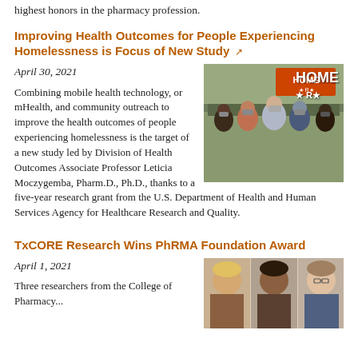highest honors in the pharmacy profession.
Improving Health Outcomes for People Experiencing Homelessness is Focus of New Study ↗
April 30, 2021
[Figure (photo): Group of people wearing masks outdoors, one person holding a sign that says HOME]
Combining mobile health technology, or mHealth, and community outreach to improve the health outcomes of people experiencing homelessness is the target of a new study led by Division of Health Outcomes Associate Professor Leticia Moczygemba, Pharm.D., Ph.D., thanks to a five-year research grant from the U.S. Department of Health and Human Services Agency for Healthcare Research and Quality.
TxCORE Research Wins PhRMA Foundation Award
April 1, 2021
[Figure (photo): Three researchers from the College of Pharmacy — headshots of two women and one man]
Three researchers from the College of Pharmacy...